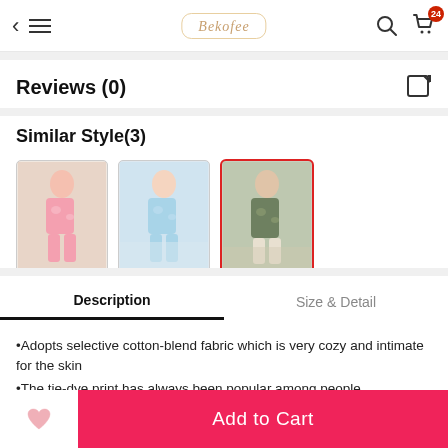< ≡ Dekofae [logo] 🔍 🛒 24
Reviews (0)
Similar Style(3)
[Figure (photo): Three thumbnail images of women wearing tie-dye pajama sets in pink, light blue, and olive/dark green colors. The third (olive green) is selected with a red border.]
Description | Size & Detail (tabs)
•Adopts selective cotton-blend fabric which is very cozy and intimate for the skin
•The tie-dye print has always been popular among people
Add to Cart